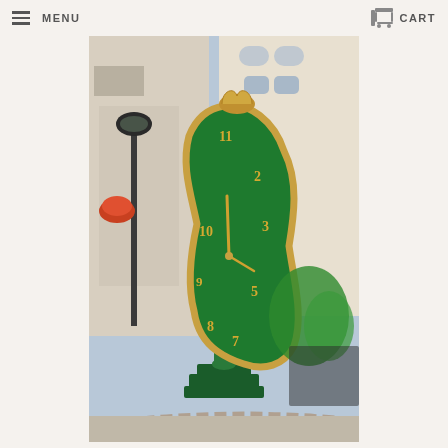MENU   CART
[Figure (photo): Photo of a Dali-style melting clock sculpture with green clock face and gold numerals, displayed outdoors on Rodeo Drive with stores and greenery in background]